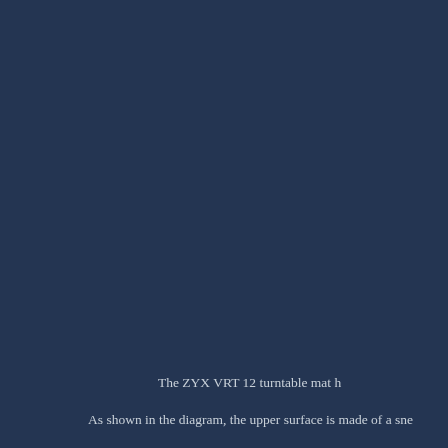The ZYX VRT 12 turntable mat h
As shown in the diagram, the upper surface is made of a sne